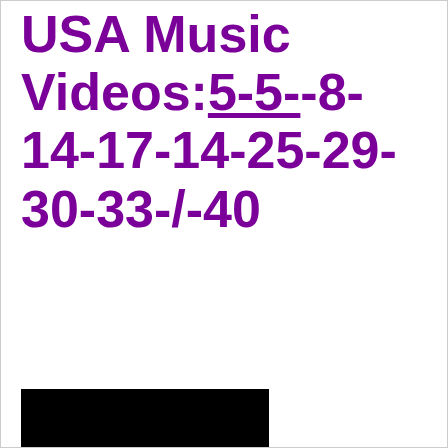USA Music Videos:5-5--8-14-17-14-25-29-30-33-/-40
[Figure (other): Black rectangle at bottom left of page]